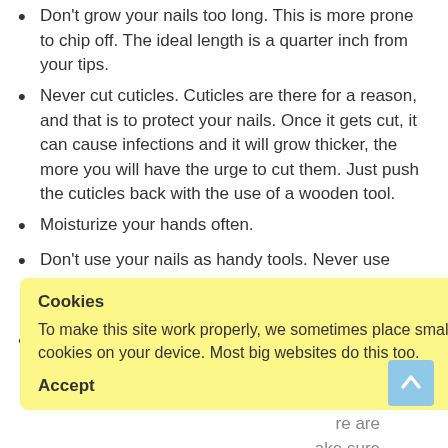Don't grow your nails too long. This is more prone to chip off. The ideal length is a quarter inch from your tips.
Never cut cuticles. Cuticles are there for a reason, and that is to protect your nails. Once it gets cut, it can cause infections and it will grow thicker, the more you will have the urge to cut them. Just push the cuticles back with the use of a wooden tool.
Moisturize your hands often.
Don't use your nails as handy tools. Never use them for rough tasks like digging or puncturing something.
Avoid nail biting.
…nicals with our nail …re are ake sure you have your tools ready like:
[Figure (screenshot): Cookie consent popup with yellow background, title 'Cookies', body text about placing cookies, and two buttons: Accept and Read more]
Wood stick ...